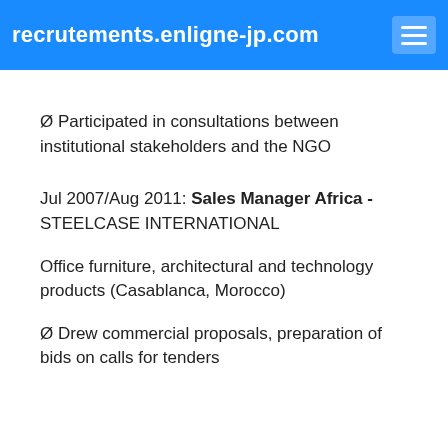recrutements.enligne-jp.com
Ø Participated in consultations between institutional stakeholders and the NGO
Jul 2007/Aug 2011: Sales Manager Africa - STEELCASE INTERNATIONAL
Office furniture, architectural and technology products (Casablanca, Morocco)
Ø Drew commercial proposals, preparation of bids on calls for tenders